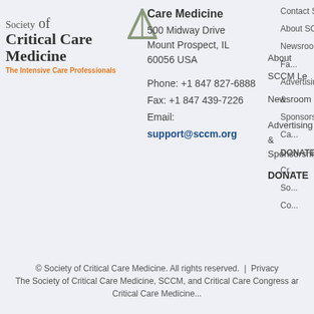[Figure (logo): Society of Critical Care Medicine logo with triangle icon and orange tagline]
Care Medicine
500 Midway Drive
Mount Prospect, IL 60056 USA
Phone: +1 847 827-6888
Fax: +1 847 439-7226
Email:
support@sccm.org
Contact So M...
About SCCM Le...
Newsroom Pa... Fa...
Advertising & Sponsorship Su... Se... Ca...
DONATE
Cr... So... Co...
© Society of Critical Care Medicine. All rights reserved. | Privacy
The Society of Critical Care Medicine, SCCM, and Critical Care Congress ar...
Critical Care Medicine...